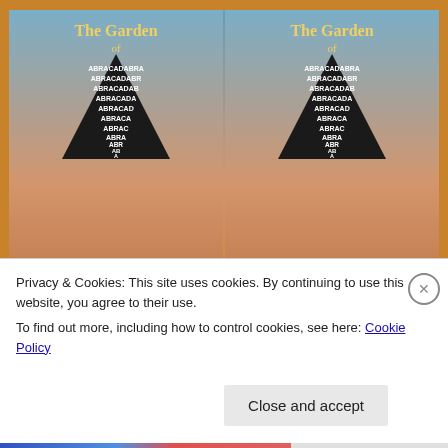[Figure (photo): Two copies of the book 'The Garden of Abracadabra' by Lisa Mason shown open/cover-up on a wooden surface. Each cover shows the title in gold text, a downward-pointing triangle filled with the word ABRACADABRA in diminishing letters, and the author name 'Lisa Mason' at the bottom in blue-gray stylized font. The right copy has a red tagline strip reading 'A Bold Visionary Adventure of Real Magic'.]
Privacy & Cookies: This site uses cookies. By continuing to use this website, you agree to their use.
To find out more, including how to control cookies, see here: Cookie Policy